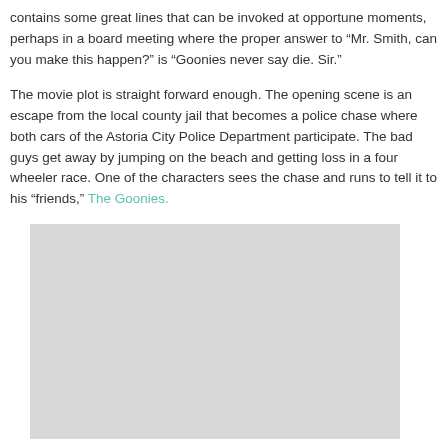contains some great lines that can be invoked at opportune moments, perhaps in a board meeting where the proper answer to “Mr. Smith, can you make this happen?” is “Goonies never say die. Sir.”
The movie plot is straight forward enough. The opening scene is an escape from the local county jail that becomes a police chase where both cars of the Astoria City Police Department participate. The bad guys get away by jumping on the beach and getting loss in a four wheeler race. One of the characters sees the chase and runs to tell it to his “friends,” The Goonies.
[Figure (photo): A large light gray placeholder image area, approximately rectangular, sitting below the text paragraphs.]